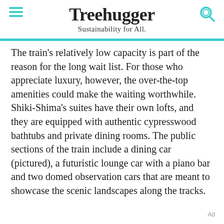Treehugger
Sustainability for All.
The train's relatively low capacity is part of the reason for the long wait list. For those who appreciate luxury, however, the over-the-top amenities could make the waiting worthwhile. Shiki-Shima's suites have their own lofts, and they are equipped with authentic cypresswood bathtubs and private dining rooms. The public sections of the train include a dining car (pictured), a futuristic lounge car with a piano bar and two domed observation cars that are meant to showcase the scenic landscapes along the tracks.
Ad